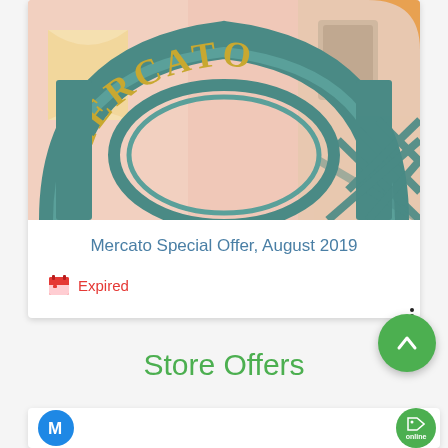[Figure (photo): Close-up photograph of a teal/green ornamental iron arch sign reading 'MERCATO' with gold lettering, with a blurred pastel-colored building facade in the background]
Mercato Special Offer, August 2019
Expired
Store Offers
[Figure (logo): Blue circular logo with white M letter and green online badge]